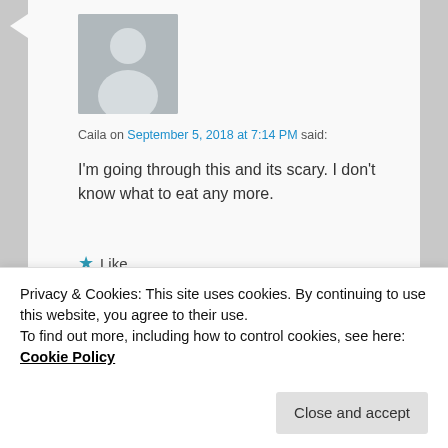[Figure (photo): Default avatar silhouette — grey background with white person icon]
Caila on September 5, 2018 at 7:14 PM said:
I'm going through this and its scary. I don't know what to eat any more.
★ Like
Reply ↓
[Figure (photo): Small thumbnail photo of a dog (husky/shepherd)]
esmeelafleur
on September 5, 2018 at 8:34 PM
Privacy & Cookies: This site uses cookies. By continuing to use this website, you agree to their use.
To find out more, including how to control cookies, see here: Cookie Policy
Close and accept